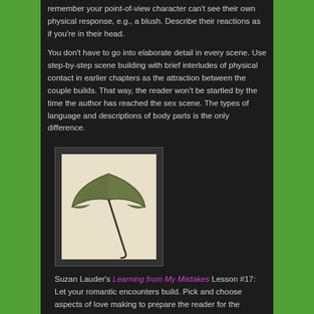remember your point-of-view character can't see their own physical response, e.g., a blush. Describe their reactions as if you're in their head.
You don't have to go into elaborate detail in every scene. Use step-by-step scene building with brief interludes of physical contact in earlier chapters as the attraction between the couple builds. That way, the reader won't be startled by the time the author has reached the sex scene. The types of language and descriptions of body parts is the only difference.
[Figure (illustration): A small illustration showing a dark parasol/umbrella on a light beige background, with a dark border frame around it.]
Suzan Lauder's Learning from My Mistakes Lesson #17: Let your romantic encounters build. Pick and choose aspects of love making to prepare the reader for the culmination.